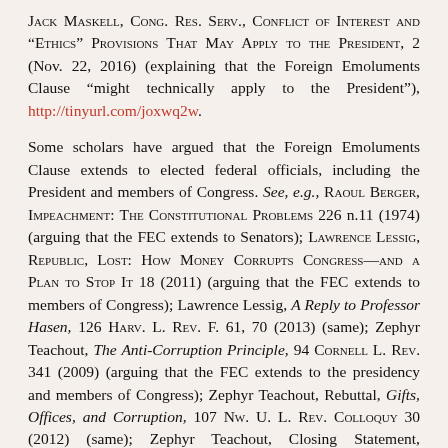Jack Maskell, Cong. Res. Serv., Conflict of Interest and "Ethics" Provisions That May Apply to the President, 2 (Nov. 22, 2016) (explaining that the Foreign Emoluments Clause "might technically apply to the President"), http://tinyurl.com/joxwq2w.
Some scholars have argued that the Foreign Emoluments Clause extends to elected federal officials, including the President and members of Congress. See, e.g., Raoul Berger, Impeachment: The Constitutional Problems 226 n.11 (1974) (arguing that the FEC extends to Senators); Lawrence Lessig, Republic, Lost: How Money Corrupts Congress—and a Plan to Stop It 18 (2011) (arguing that the FEC extends to members of Congress); Lawrence Lessig, A Reply to Professor Hasen, 126 Harv. L. Rev. F. 61, 70 (2013) (same); Zephyr Teachout, The Anti-Corruption Principle, 94 Cornell L. Rev. 341 (2009) (arguing that the FEC extends to the presidency and members of Congress); Zephyr Teachout, Rebuttal, Gifts, Offices, and Corruption, 107 Nw. U. L. Rev. Colloquy 30 (2012) (same); Zephyr Teachout, Closing Statement, Constitutional Purpose and the Anti-Corruption Principle